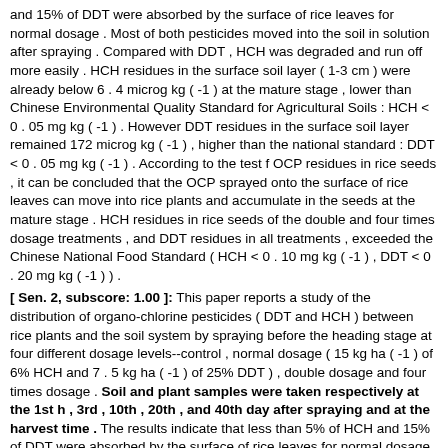and 15% of DDT were absorbed by the surface of rice leaves for normal dosage . Most of both pesticides moved into the soil in solution after spraying . Compared with DDT , HCH was degraded and run off more easily . HCH residues in the surface soil layer ( 1-3 cm ) were already below 6 . 4 microg kg ( -1 ) at the mature stage , lower than Chinese Environmental Quality Standard for Agricultural Soils : HCH < 0 . 05 mg kg ( -1 ) . However DDT residues in the surface soil layer remained 172 microg kg ( -1 ) , higher than the national standard : DDT < 0 . 05 mg kg ( -1 ) . According to the test f OCP residues in rice seeds , it can be concluded that the OCP sprayed onto the surface of rice leaves can move into rice plants and accumulate in the seeds at the mature stage . HCH residues in rice seeds of the double and four times dosage treatments , and DDT residues in all treatments , exceeded the Chinese National Food Standard ( HCH < 0 . 10 mg kg ( -1 ) , DDT < 0 . 20 mg kg ( -1 ) ) .
[ Sen. 2, subscore: 1.00 ]: This paper reports a study of the distribution of organo-chlorine pesticides ( DDT and HCH ) between rice plants and the soil system by spraying before the heading stage at four different dosage levels--control , normal dosage ( 15 kg ha ( -1 ) of 6% HCH and 7 . 5 kg ha ( -1 ) of 25% DDT ) , double dosage and four times dosage . Soil and plant samples were taken respectively at the 1st h , 3rd , 10th , 20th , and 40th day after spraying and at the harvest time . The results indicate that less than 5% of HCH and 15% of DDT were absorbed by the surface of rice leaves for normal dosage . Most of both pesticides moved into the soil in solution after spraying . Compared with DDT , HCH was degraded and run off more easily . HCH residues in the surface soil layer ( 1-3 cm ) were already below 6 . 4 microg kg ( -1 ) at the mature stage , lower than Chinese Environmental Quality Standard for Agricultural Soils : HCH < 0 . 05 mg kg ( -1 ) . However DDT residues in the surface soil layer remained 172 microg kg ( -1 ) , higher than the